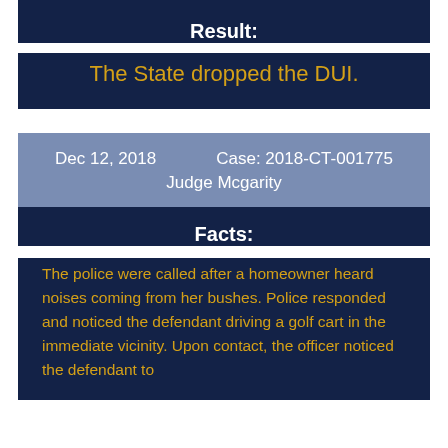Result:
The State dropped the DUI.
Dec 12, 2018    Case: 2018-CT-001775
Judge Mcgarity
Facts:
The police were called after a homeowner heard noises coming from her bushes. Police responded and noticed the defendant driving a golf cart in the immediate vicinity. Upon contact, the officer noticed the defendant to